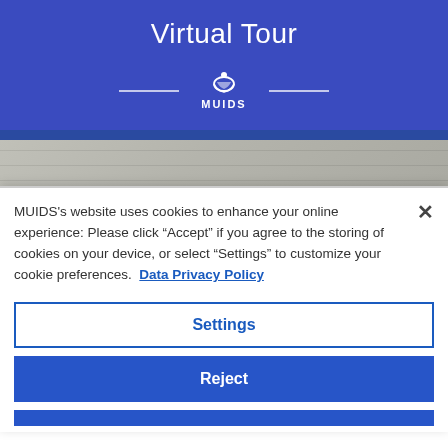Virtual Tour
[Figure (logo): MUIDS logo with decorative lines on either side, white on blue background]
[Figure (photo): Building exterior photo of MUIDS campus — concrete wall with blue stripe, windows visible]
Visit MUIDS virtually. Click and drag your mouse to
MUIDS's website uses cookies to enhance your online experience: Please click “Accept” if you agree to the storing of cookies on your device, or select “Settings” to customize your cookie preferences. Data Privacy Policy
Settings
Reject